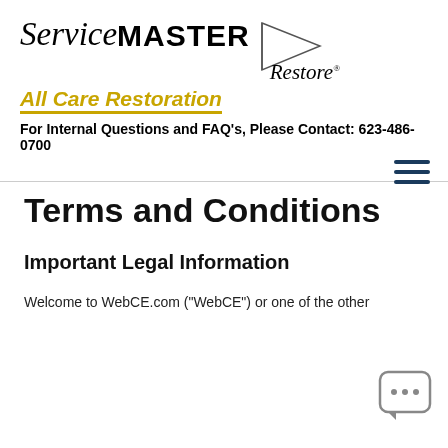[Figure (logo): ServiceMaster Restore logo with triangle graphic and 'All Care Restoration' text below in gold italic underlined font]
For Internal Questions and FAQ's, Please Contact: 623-486-0700
[Figure (other): Hamburger menu icon (three horizontal lines) in dark blue]
Terms and Conditions
Important Legal Information
Welcome to WebCE.com ("WebCE") or one of the other
[Figure (other): Chat bubble icon with three dots]